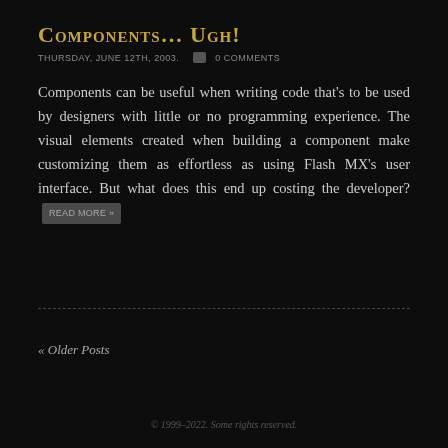Components… Ugh!
THURSDAY, JUNE 12TH, 2003.  0 COMMENTS
Components can be useful when writing code that's to be used by designers with little or no programming experience. The visual elements created when building a component make customizing them as effortless as using Flash MX's user interface. But what does this end up costing the developer? READ MORE »
« Older Posts
© 1999–2022. Some rights reserved.